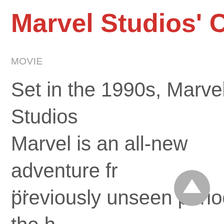Marvel Studios' Captain Ma
MOVIE
Set in the 1990s, Marvel Studios Marvel is an all-new adventure fr previously unseen period in the h the Marvel Cinematic Universe th the journey of Carol Danvers as s becomes one of the universes m
...